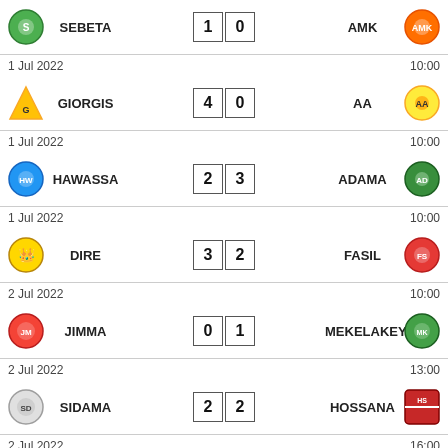| Home | Score | Away | Date | Time |
| --- | --- | --- | --- | --- |
| SEBETA | 1 - 0 | AMK |  |  |
|  |  |  | 1 Jul 2022 | 10:00 |
| GIORGIS | 4 - 0 | AA |  |  |
|  |  |  | 1 Jul 2022 | 10:00 |
| HAWASSA | 2 - 3 | ADAMA |  |  |
|  |  |  | 1 Jul 2022 | 10:00 |
| DIRE | 3 - 2 | FASIL |  |  |
|  |  |  | 2 Jul 2022 | 10:00 |
| JIMMA | 0 - 1 | MEKELAKEYA |  |  |
|  |  |  | 2 Jul 2022 | 13:00 |
| SIDAMA | 2 - 2 | HOSSANA |  |  |
|  |  |  | 2 Jul 2022 | 16:00 |